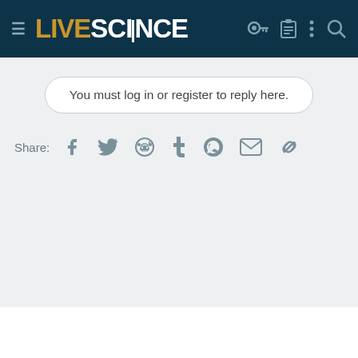LIVESCIENCE
You must log in or register to reply here.
Share: